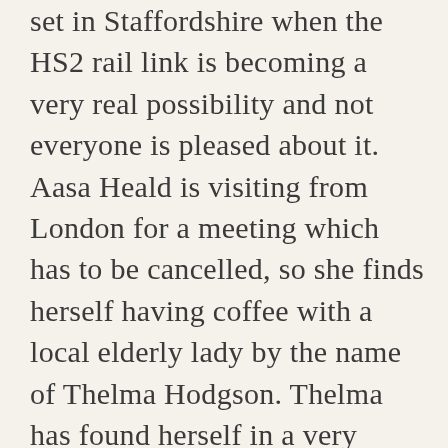set in Staffordshire when the HS2 rail link is becoming a very real possibility and not everyone is pleased about it. Aasa Heald is visiting from London for a meeting which has to be cancelled, so she finds herself having coffee with a local elderly lady by the name of Thelma Hodgson. Thelma has found herself in a very difficult situation having been deceived out of all she owns by two less than honest excuses for human beings claiming to be long lost family. Maybe